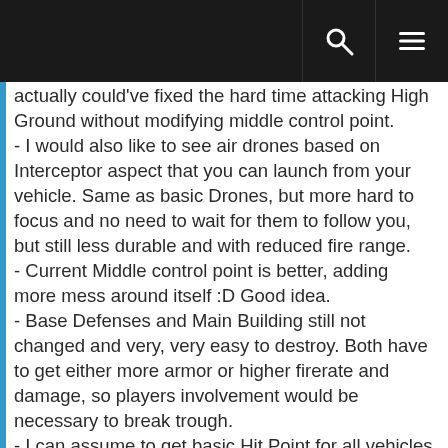[navigation bar with search and menu icons]
actually could've fixed the hard time attacking High Ground without modifying middle control point.
- I would also like to see air drones based on Interceptor aspect that you can launch from your vehicle. Same as basic Drones, but more hard to focus and no need to wait for them to follow you, but still less durable and with reduced fire range.
- Current Middle control point is better, adding more mess around itself :D Good idea.
- Base Defenses and Main Building still not changed and very, very easy to destroy. Both have to get either more armor or higher firerate and damage, so players involvement would be necessary to break trough.
- I can assume to get basic Hit Point for all vehicles a little higher. Somehow it's not looking good right not. Don't know why, but as you get more powerful Drones/Weapons, enemies start to break apart so fast...
- Vehicles need to be described on their base stats rather than just by words. Also, their stats really should differ